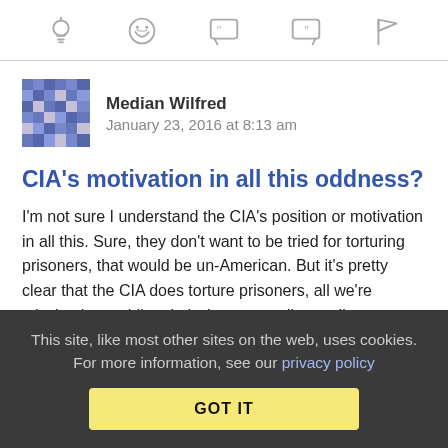[Figure (other): Toolbar with five icons: lightbulb, laughing emoji, open-quote speech bubble, close-quote speech bubble, flag]
[Figure (illustration): Pixelated avatar image for user Median Wilfred]
Median Wilfred   January 23, 2016 at 8:13 am
CIA's motivation in all this oddness?
I'm not sure I understand the CIA's position or motivation in all this. Sure, they don't want to be tried for torturing prisoners, that would be un-American. But it's pretty clear that the CIA does torture prisoners, all we're missing is a public admission, or a guilty verdict.
But why the offer of an off-the-record personal apology? Why
This site, like most other sites on the web, uses cookies. For more information, see our privacy policy  GOT IT